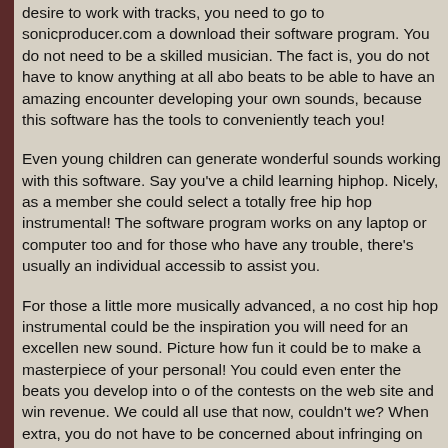desire to work with tracks, you need to go to sonicproducer.com a download their software program. You do not need to be a skilled musician. The fact is, you do not have to know anything at all abo beats to be able to have an amazing encounter developing your own sounds, because this software has the tools to conveniently teach you!
Even young children can generate wonderful sounds working with this software. Say you've a child learning hiphop. Nicely, as a member she could select a totally free hip hop instrumental! The software program works on any laptop or computer too and for those who have any trouble, there's usually an individual accessib to assist you.
For those a little more musically advanced, a no cost hip hop instrumental could be the inspiration you will need for an excellen new sound. Picture how fun it could be to make a masterpiece of your personal! You could even enter the beats you develop into o of the contests on the web site and win revenue. We could all use that now, couldn't we? When extra, you do not have to be concerned about infringing on copyrights mainly because every beat they have, you'll be able to have since they're all royalty-free